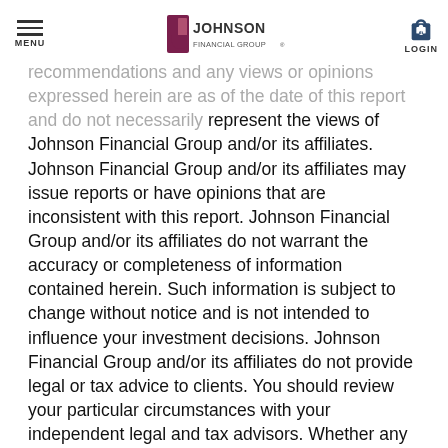MENU | JOHNSON FINANCIAL GROUP | LOGIN
recommendations and any views or opinions expressed herein are as of the date of this report and do not necessarily represent the views of Johnson Financial Group and/or its affiliates. Johnson Financial Group and/or its affiliates may issue reports or have opinions that are inconsistent with this report. Johnson Financial Group and/or its affiliates do not warrant the accuracy or completeness of information contained herein. Such information is subject to change without notice and is not intended to influence your investment decisions. Johnson Financial Group and/or its affiliates do not provide legal or tax advice to clients. You should review your particular circumstances with your independent legal and tax advisors. Whether any planned tax result is realized by you depends on the specific facts of your own situation at the time your taxes are prepared. Past performance is no guarantee of future results. All performance data, while deemed obtained from reliable sources, are not guaranteed for accuracy. Not for use as a primary basis of investment decisions. Not to be construed to meet the needs of any particular investor. Asset allocation and diversification do not assure or guarantee better performance